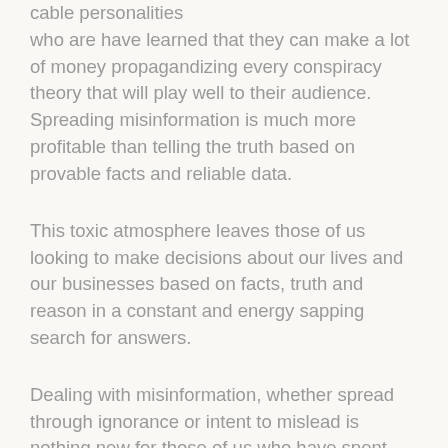cable personalities who are have learned that they can make a lot of money propagandizing every conspiracy theory that will play well to their audience. Spreading misinformation is much more profitable than telling the truth based on provable facts and reliable data.
This toxic atmosphere leaves those of us looking to make decisions about our lives and our businesses based on facts, truth and reason in a constant and energy sapping search for answers.
Dealing with misinformation, whether spread through ignorance or intent to mislead is nothing new for those of us who have spent our careers in direct selling. For years, the critics